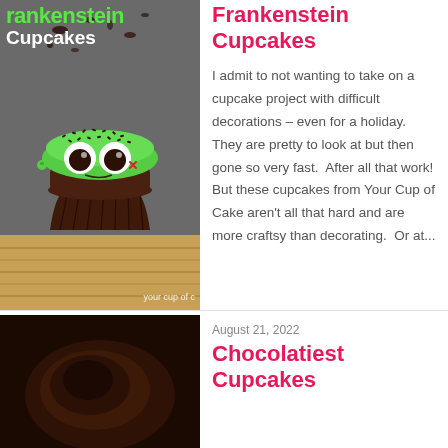[Figure (photo): Frankenstein cupcake photo with green frosting, chocolate sprinkles, candy eyes, and red X mark decoration on a bamboo surface. Title overlay reads 'Frankenstein Cupcakes' with watermark 'your cup of c']
Frankenstein Cupcakes
I admit to not wanting to take on a cupcake project with difficult decorations – even for a holiday.  They are pretty to look at but then gone so very fast.  After all that work!  But these cupcakes from Your Cup of Cake aren't all that hard and are more craftsy than decorating.  Or at...
[Figure (photo): Dark chocolate dessert photo, partially visible at bottom of page]
August 21, 2022
Chocolatiest Cupcakes